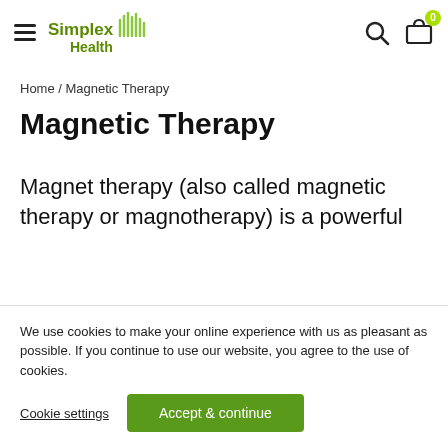Simplex Health — navigation header with hamburger menu, logo, search icon, and cart icon (badge: 0)
Home / Magnetic Therapy
Magnetic Therapy
Magnet therapy (also called magnetic therapy or magnotherapy) is a powerful
We use cookies to make your online experience with us as pleasant as possible. If you continue to use our website, you agree to the use of cookies.
Cookie settings | Accept & continue